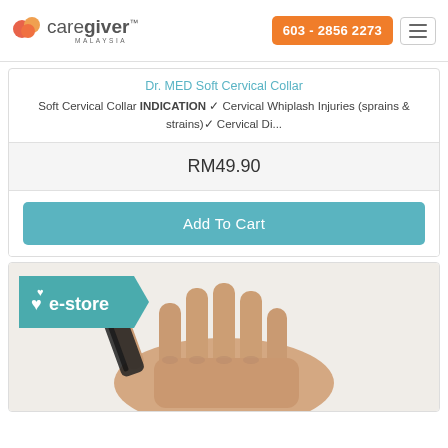[Figure (logo): CareGiver Malaysia logo with orange heart icon and orange phone number button 603-2856 2273 and hamburger menu]
Dr. MED Soft Cervical Collar
Soft Cervical Collar INDICATION ✓ Cervical Whiplash Injuries (sprains & strains)✓ Cervical Di...
RM49.90
Add To Cart
[Figure (photo): E-store badge with teal ribbon shape and heart icon, above a photo of a hand wearing a black thumb brace/splint]